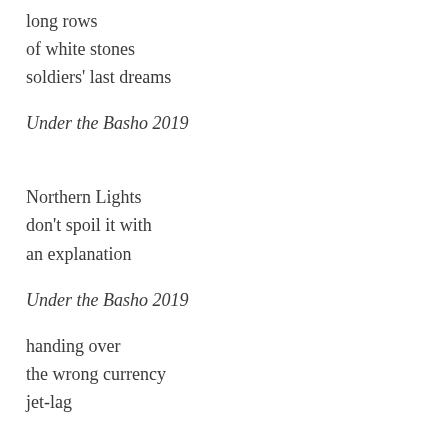long rows
of white stones
soldiers' last dreams
Under the Basho 2019
Northern Lights
don't spoil it with
an explanation
Under the Basho 2019
handing over
the wrong currency
jet-lag